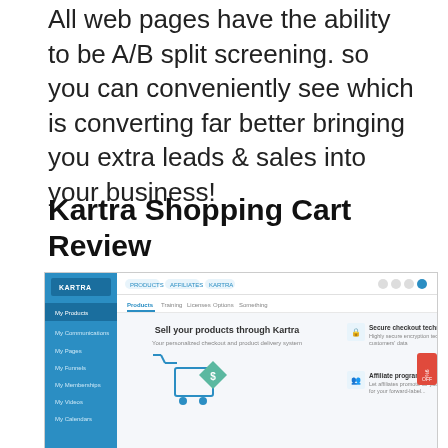All web pages have the ability to be A/B split screening. so you can conveniently see which is converting far better bringing you extra leads & sales into your business!
Kartra Shopping Cart Review
[Figure (screenshot): Screenshot of the Kartra platform interface showing the shopping cart/products page with sidebar navigation, top navigation bar, and main content area displaying 'Sell your products through Kartra' with a shopping cart graphic and dollar sign, plus feature callouts for 'Secure checkout technology' and 'Affiliate program'.]